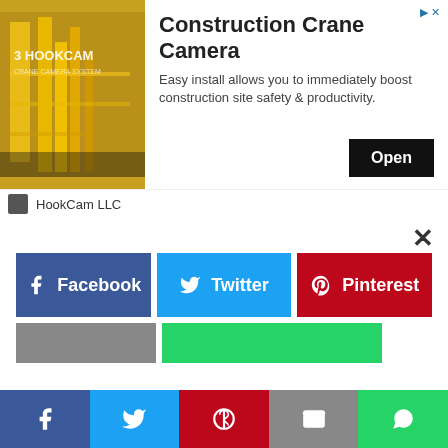[Figure (screenshot): Advertisement banner for HookCam LLC featuring Construction Crane Camera product with yellow crane image]
Construction Crane Camera
Easy install allows you to immediately boost construction site safety & productivity.
HookCam LLC
Bourne again
Legacy could have gone two ways. Either it would try to establish dominance in the same world as the Bourne trilogy, or it would ape the predecessors at every turn and retcon the storyline willy-nilly. The outcome was, of course, the latter. The same sounds, the same shaky-cam visuals, the same fight-style and the same motifs. Throughout the film viewers could claim they are actually watching scenes from The
[Figure (screenshot): Social share modal with Facebook, Twitter, Pinterest buttons and bottom share bar with social media icons]